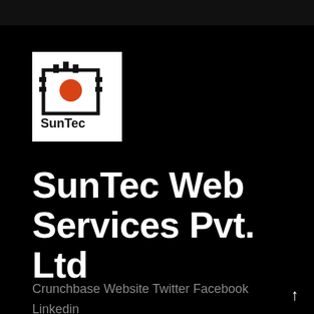[Figure (logo): SunTec company logo: a square border with a gear/sun symbol on top and an orange circle/sun in the center, with the text 'SunTec' below in bold black letters, on a white background]
SunTec Web Services Pvt. Ltd
Crunchbase Website Twitter Facebook Linkedin